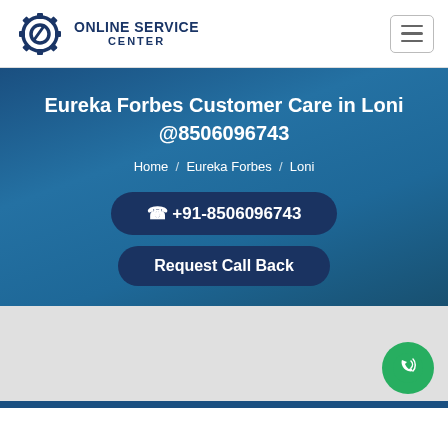ONLINE SERVICE CENTER
Eureka Forbes Customer Care in Loni @8506096743
Home / Eureka Forbes / Loni
+91-8506096743
Request Call Back
[Figure (logo): Green circular phone icon on bottom right]